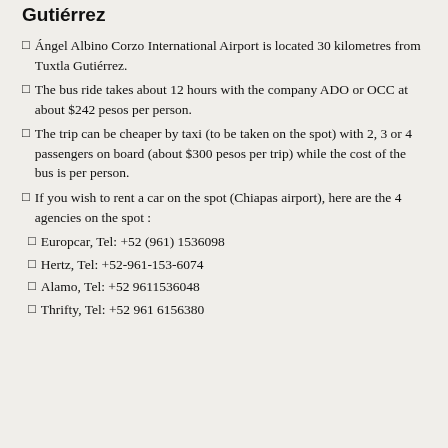Gutiérrez
Ángel Albino Corzo International Airport is located 30 kilometres from Tuxtla Gutiérrez.
The bus ride takes about 12 hours with the company ADO or OCC at about $242 pesos per person.
The trip can be cheaper by taxi (to be taken on the spot) with 2, 3 or 4 passengers on board (about $300 pesos per trip) while the cost of the bus is per person.
If you wish to rent a car on the spot (Chiapas airport), here are the 4 agencies on the spot :
Europcar, Tel: +52 (961) 1536098
Hertz, Tel: +52-961-153-6074
Alamo, Tel: +52 9611536048
Thrifty, Tel: +52 961 6156380